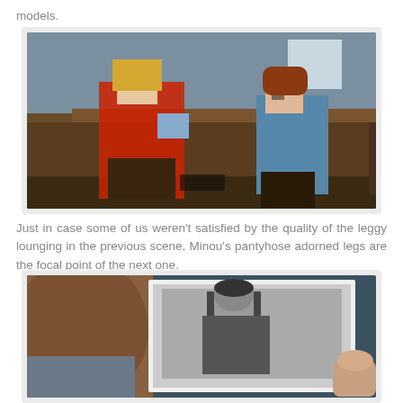models.
[Figure (photo): Two women lounging; one in red dress holding a magazine, one in blue dress seated on brown cushions/couch in a room.]
Just in case some of us weren't satisfied by the quality of the leggy lounging in the previous scene, Minou's pantyhose adorned legs are the focal point of the next one.
[Figure (photo): Close-up of pantyhose-clad legs holding a black-and-white photograph of a man posing.]